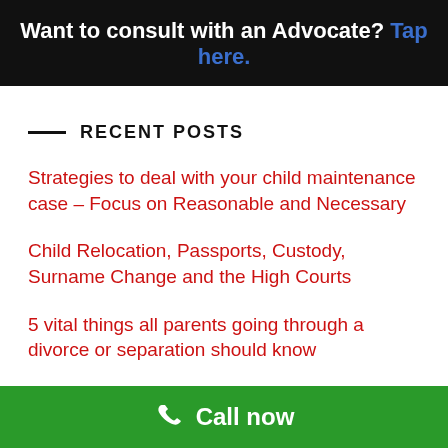Want to consult with an Advocate? Tap here.
RECENT POSTS
Strategies to deal with your child maintenance case – Focus on Reasonable and Necessary
Child Relocation, Passports, Custody, Surname Change and the High Courts
5 vital things all parents going through a divorce or separation should know
Are you and the other parent of your child having
Call now